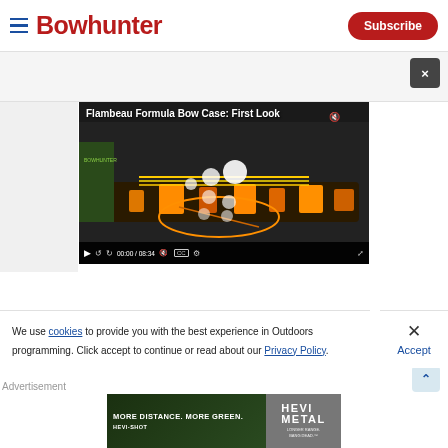Bowhunter | Subscribe
[Figure (screenshot): Video player showing 'Flambeau Formula Bow Case: First Look' with bow case image, playback controls showing 00:00 / 08:34]
We use cookies to provide you with the best experience in Outdoors programming. Click accept to continue or read about our Privacy Policy.
Advertisement
[Figure (photo): HEVI-SHOT HEVI-METAL advertisement: MORE DISTANCE. MORE GREEN. HEVI-SHOT / LONGER RANGE. BANG DEAD.]